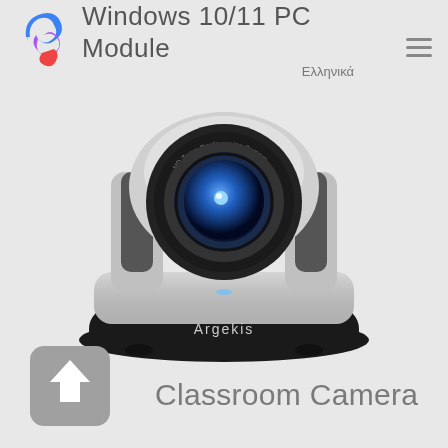[Figure (logo): Colorful swirl logo with blue, purple, red colors]
Windows 10/11 PC Module
Ελληνικά
[Figure (photo): Argekis brand PTZ conferencing camera, silver and black, front-facing lens view]
[Figure (other): Upload/back arrow button icon in grey rounded square]
Classroom Camera